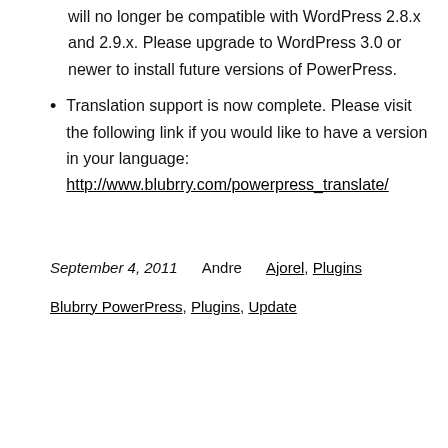will no longer be compatible with WordPress 2.8.x and 2.9.x. Please upgrade to WordPress 3.0 or newer to install future versions of PowerPress.
Translation support is now complete. Please visit the following link if you would like to have a version in your language: http://www.blubrry.com/powerpress_translate/
September 4, 2011    Andre    Ajorel, Plugins
Blubrry PowerPress, Plugins, Update